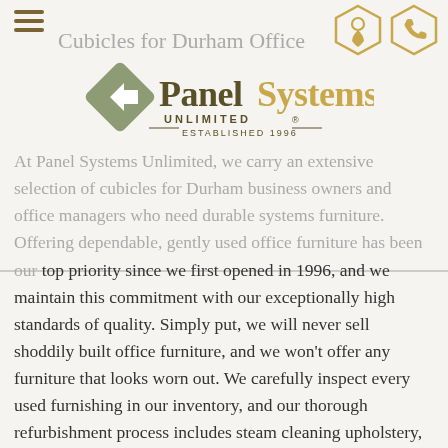Cubicles for Durham Offices
[Figure (logo): Panel Systems Unlimited logo with diamond-shaped arrow icon, text 'PanelSystems UNLIMITED® ESTABLISHED 1996']
At Panel Systems Unlimited, we carry an extensive selection of cubicles for Durham business owners and office managers who need durable systems furniture. Offering dependable, gently used office furniture has been our top priority since we first opened in 1996, and we maintain this commitment with our exceptionally high standards of quality. Simply put, we will never sell shoddily built office furniture, and we won't offer any furniture that looks worn out. We carefully inspect every used furnishing in our inventory, and our thorough refurbishment process includes steam cleaning upholstery, touching up chipped paint, replacing missing or broken parts, and ensuring that each cubicle we sell works properly, and looks as good as new. We have a wide selection of cubicles for Durham, including those